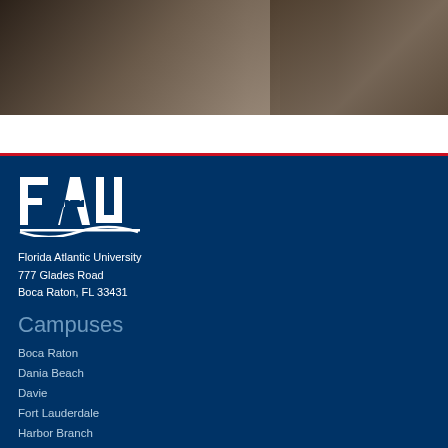[Figure (photo): Top portion of a page showing a partial photograph, dark toned image of people]
[Figure (logo): FAU (Florida Atlantic University) logo in white on navy background]
Florida Atlantic University
777 Glades Road
Boca Raton, FL 33431
Campuses
Boca Raton
Dania Beach
Davie
Fort Lauderdale
Harbor Branch
Jupiter
Quick Links
Privacy Policy